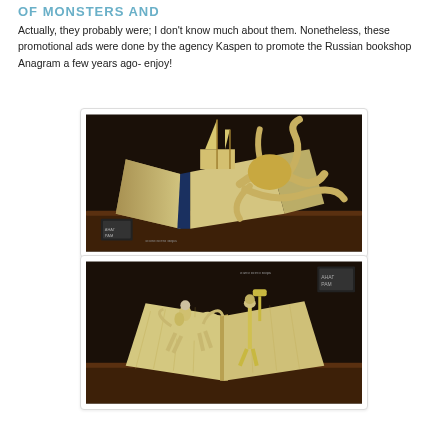OF MONSTERS AND
Actually, they probably were; I don't know much about them. Nonetheless, these promotional ads were done by the agency Kaspen to promote the Russian bookshop Anagram a few years ago- enjoy!
[Figure (photo): Book sculpture art showing an open book with paper pages folded into a scene depicting a ship being attacked by an octopus monster, against a dark background. Logo and text visible in lower left corner.]
[Figure (photo): Book sculpture art showing an open book with paper pages folded into a scene depicting a knight on horseback and a figure with raised hammer, against a dark background. Logo and text visible in upper right corner.]